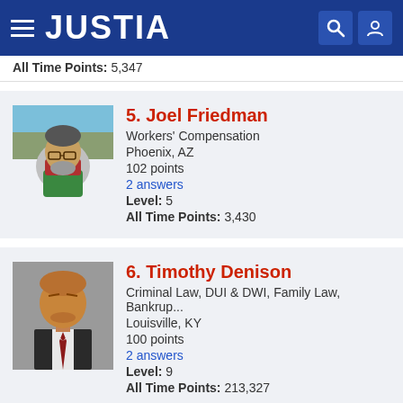JUSTIA
All Time Points: 5,347
5. Joel Friedman
Workers' Compensation
Phoenix, AZ
102 points
2 answers
Level: 5
All Time Points: 3,430
6. Timothy Denison
Criminal Law, DUI & DWI, Family Law, Bankrup...
Louisville, KY
100 points
2 answers
Level: 9
All Time Points: 213,327